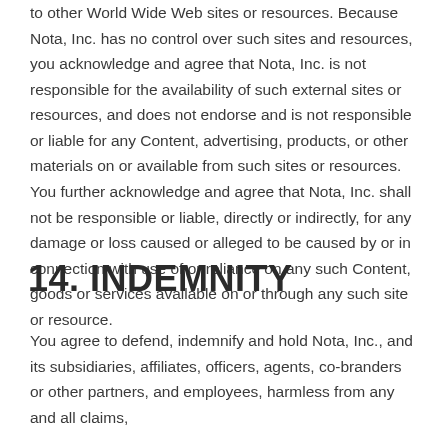to other World Wide Web sites or resources. Because Nota, Inc. has no control over such sites and resources, you acknowledge and agree that Nota, Inc. is not responsible for the availability of such external sites or resources, and does not endorse and is not responsible or liable for any Content, advertising, products, or other materials on or available from such sites or resources. You further acknowledge and agree that Nota, Inc. shall not be responsible or liable, directly or indirectly, for any damage or loss caused or alleged to be caused by or in connection with use of or reliance on any such Content, goods or services available on or through any such site or resource.
14. INDEMNITY
You agree to defend, indemnify and hold Nota, Inc., and its subsidiaries, affiliates, officers, agents, co-branders or other partners, and employees, harmless from any and all claims,